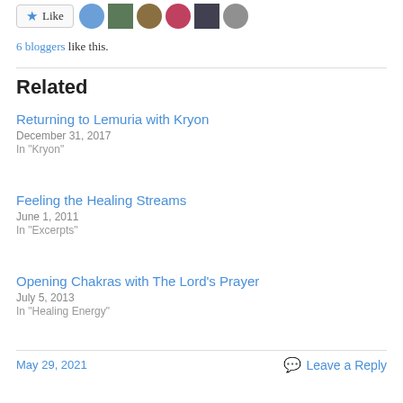[Figure (other): Like button with star icon and 6 blogger avatar thumbnails]
6 bloggers like this.
Related
Returning to Lemuria with Kryon
December 31, 2017
In "Kryon"
Feeling the Healing Streams
June 1, 2011
In "Excerpts"
Opening Chakras with The Lord's Prayer
July 5, 2013
In "Healing Energy"
May 29, 2021    Leave a Reply